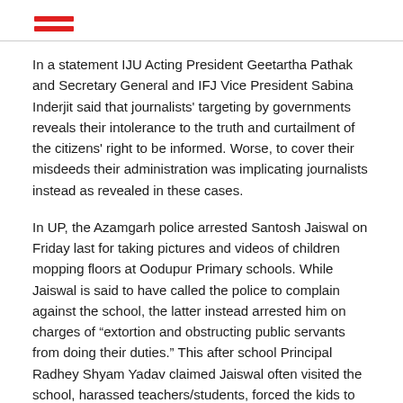[hamburger menu icon]
In a statement IJU Acting President Geetartha Pathak and Secretary General and IFJ Vice President Sabina Inderjit said that journalists' targeting by governments reveals their intolerance to the truth and curtailment of the citizens' right to be informed. Worse, to cover their misdeeds their administration was implicating journalists instead as revealed in these cases.
In UP, the Azamgarh police arrested Santosh Jaiswal on Friday last for taking pictures and videos of children mopping floors at Oodupur Primary schools. While Jaiswal is said to have called the police to complain against the school, the latter instead arrested him on charges of “extortion and obstructing public servants from doing their duties.” This after school Principal Radhey Shyam Yadav claimed Jaiswal often visited the school, harassed teachers/students, forced the kids to mop the floor so he could take photographs and demanded money from him.
District Magistrate NP Singh, on Monday last ordered an investigation after local journalists met him and explained the